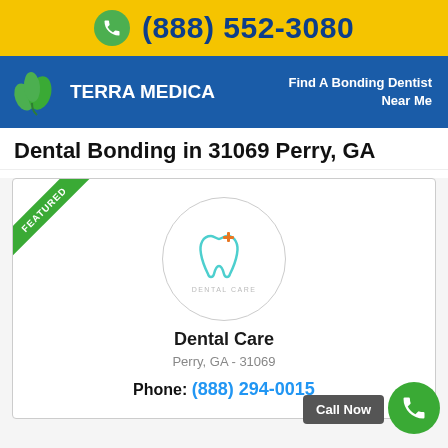(888) 552-3080
[Figure (logo): Terra Medica logo with green leaves and white text on blue background. Tagline: Find A Bonding Dentist Near Me]
Dental Bonding in 31069 Perry, GA
[Figure (logo): Featured dental care listing card with circular dental care logo, name 'Dental Care', address 'Perry, GA - 31069', and phone number]
Dental Care
Perry, GA - 31069
Phone: (888) 294-0015